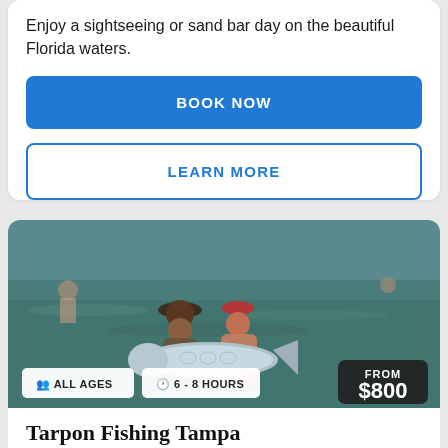Enjoy a sightseeing or sand bar day on the beautiful Florida waters.
BOOK NOW
LEARN MORE
[Figure (photo): Two people standing in shallow ocean water holding a large tarpon fish. One person wears a wide-brim hat, the other wears a red cap. Overlaid badges show ALL AGES, 6-8 HOURS, and price FROM $800.]
Tarpon Fishing Tampa